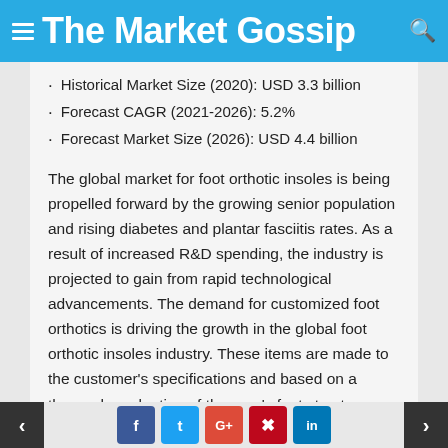The Market Gossip
Historical Market Size (2020): USD 3.3 billion
Forecast CAGR (2021-2026): 5.2%
Forecast Market Size (2026): USD 4.4 billion
The global market for foot orthotic insoles is being propelled forward by the growing senior population and rising diabetes and plantar fasciitis rates. As a result of increased R&D spending, the industry is projected to gain from rapid technological advancements. The demand for customized foot orthotics is driving the growth in the global foot orthotic insoles industry. These items are made to the customer's specifications and based on a thorough evaluation of the user's foot structure. Custom-made or personalized orthotics have several clinically proven advantages
< f t G+ p in >